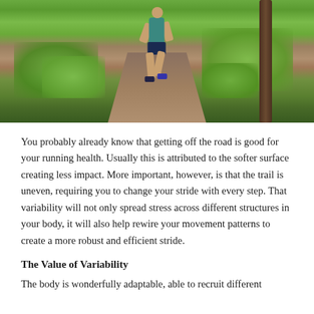[Figure (photo): A trail runner (woman in teal top and dark shorts) running on a forest trail path surrounded by lush green trees and foliage, viewed from below/front angle.]
You probably already know that getting off the road is good for your running health. Usually this is attributed to the softer surface creating less impact. More important, however, is that the trail is uneven, requiring you to change your stride with every step. That variability will not only spread stress across different structures in your body, it will also help rewire your movement patterns to create a more robust and efficient stride.
The Value of Variability
The body is wonderfully adaptable, able to recruit different